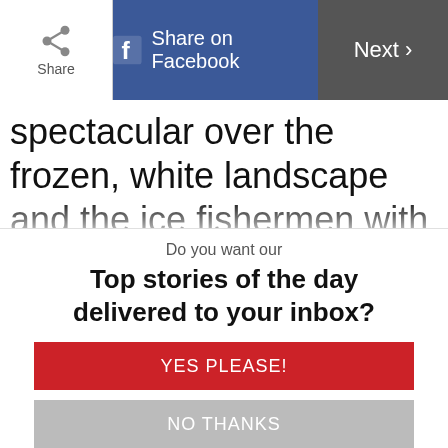Share | Share on Facebook | Next
spectacular over the frozen, white landscape and the ice fishermen with their colourful huts are visible on the frozen Ottawa River. Mer Bleue Bog is another terrific spot to enjoy wildlife sightings and outstanding winter flora, with its long, winding boardwalk. There are many other beautiful places in Ottawa to enjoy winter, including a little-known nature area called Heart's Desire Forest in
Do you want our
Top stories of the day delivered to your inbox?
YES PLEASE!
NO THANKS